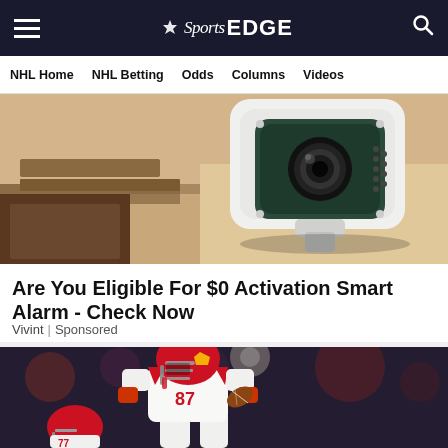NBC Sports EDGE — NHL Home | NHL Betting | Odds | Columns | Videos
[Figure (photo): Close-up of a white and dark green outdoor security camera mounted on a beige ceiling/wall]
Are You Eligible For $0 Activation Smart Alarm - Check Now
Vivint | Sponsored
[Figure (photo): Kansas City Chiefs football player in red helmet and white uniform, jersey number 87, running with the ball during a night game]